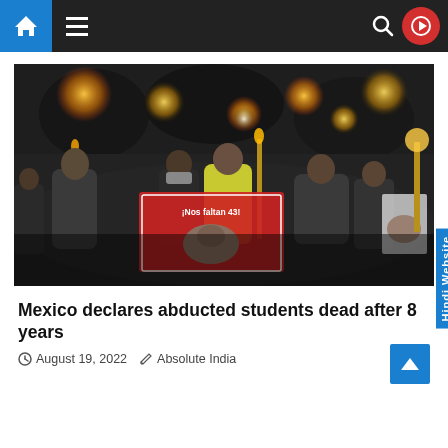Navigation bar with home icon, hamburger menu, search icon, and video play button
[Figure (photo): Night-time protest march with people carrying torches. A person in the center holds a banner reading '¡Nos faltan 43!' with a photo of a person on it. Crowd visible in background with torchlight. Hindi Website tab visible on right side.]
Mexico declares abducted students dead after 8 years
August 19, 2022   Absolute India